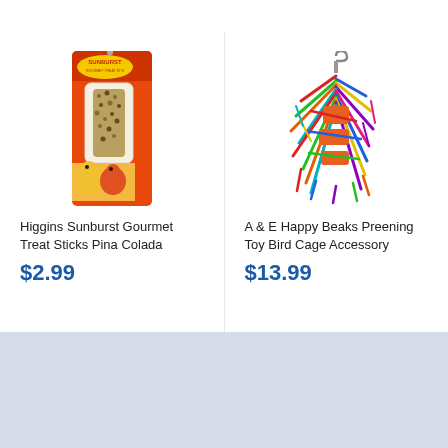[Figure (photo): Higgins Sunburst Gourmet Treat Sticks Pina Colada product packaging — red and orange card with a seed stick treat and two parakeets shown on front]
Higgins Sunburst Gourmet Treat Sticks Pina Colada
$2.99
[Figure (photo): A & E Happy Beaks Preening Toy Bird Cage Accessory — colorful tangled rope and fabric toy hanging from a metal hook]
A & E Happy Beaks Preening Toy Bird Cage Accessory
$13.99